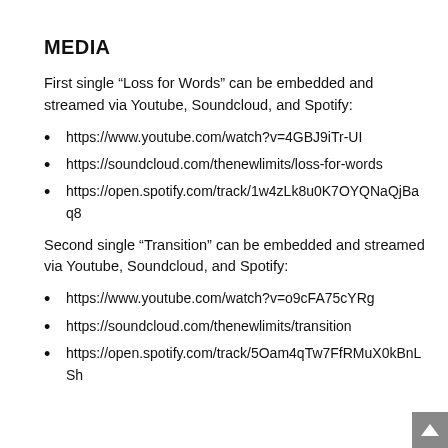MEDIA
First single “Loss for Words” can be embedded and streamed via Youtube, Soundcloud, and Spotify:
https://www.youtube.com/watch?v=4GBJ9iTr-UI
https://soundcloud.com/thenewlimits/loss-for-words
https://open.spotify.com/track/1w4zLk8u0K7OYQNaQjBaq8
Second single “Transition” can be embedded and streamed via Youtube, Soundcloud, and Spotify:
https://www.youtube.com/watch?v=o9cFA75cYRg
https://soundcloud.com/thenewlimits/transition
https://open.spotify.com/track/5Oam4qTw7FfRMuX0kBnLSh